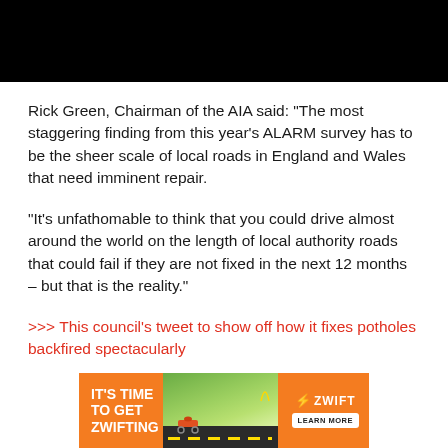[Figure (photo): Black bar/image at top of page (video or photo placeholder, entirely black)]
Rick Green, Chairman of the AIA said: "The most staggering finding from this year's ALARM survey has to be the sheer scale of local roads in England and Wales that need imminent repair.
"It's unfathomable to think that you could drive almost around the world on the length of local authority roads that could fail if they are not fixed in the next 12 months – but that is the reality."
>>> This council's tweet to show off how it fixes potholes backfired spectacularly
[Figure (photo): Zwift advertisement banner: orange background with 'IT'S TIME TO GET ZWIFTING' text on left, cyclists on road image in middle, Zwift logo and LEARN MORE button on right]